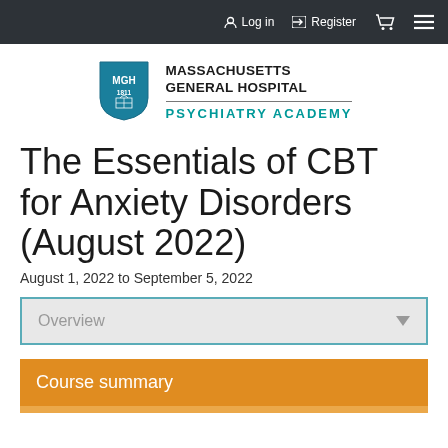Log in  Register
[Figure (logo): Massachusetts General Hospital Psychiatry Academy logo with MGH shield and text]
The Essentials of CBT for Anxiety Disorders (August 2022)
August 1, 2022 to September 5, 2022
Overview
Course summary